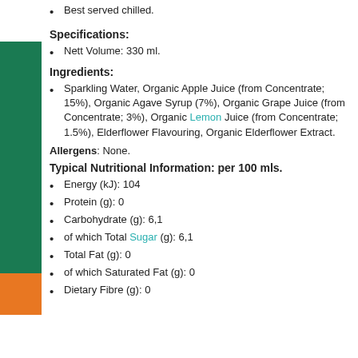Best served chilled.
Specifications:
Nett Volume: 330 ml.
Ingredients:
Sparkling Water, Organic Apple Juice (from Concentrate; 15%), Organic Agave Syrup (7%), Organic Grape Juice (from Concentrate; 3%), Organic Lemon Juice (from Concentrate; 1.5%), Elderflower Flavouring, Organic Elderflower Extract.
Allergens: None.
Typical Nutritional Information: per 100 mls.
Energy (kJ): 104
Protein (g): 0
Carbohydrate (g): 6,1
of which Total Sugar (g): 6,1
Total Fat (g): 0
of which Saturated Fat (g): 0
Dietary Fibre (g): 0